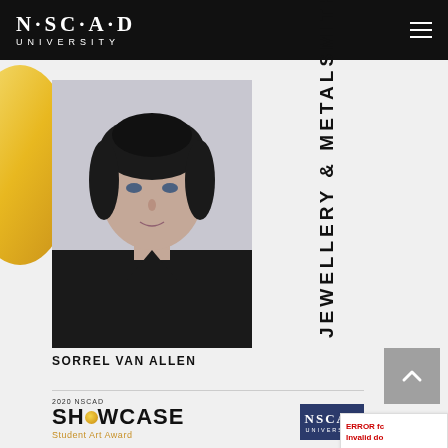NSCAD UNIVERSITY
[Figure (photo): Headshot photo of Sorrel Van Allen, a woman with dark hair pulled back, wearing a black top, against a light background]
SORREL VAN ALLEN
JEWELLERY & METALSMITHING
[Figure (logo): 2020 NSCAD Showcase Student Art Award logo with golden circle in the word SHOWCASE]
[Figure (logo): NSCAD University logo on dark navy background]
ERROR fc Invalid do